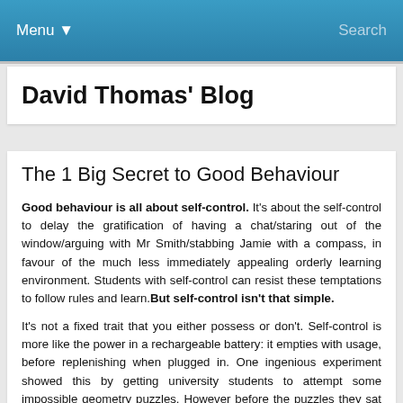Menu ▼   Search
David Thomas' Blog
The 1 Big Secret to Good Behaviour
Good behaviour is all about self-control. It's about the self-control to delay the gratification of having a chat/staring out of the window/arguing with Mr Smith/stabbing Jamie with a compass, in favour of the much less immediately appealing orderly learning environment. Students with self-control can resist these temptations to follow rules and learn.But self-control isn't that simple.
It's not a fixed trait that you either possess or don't. Self-control is more like the power in a rechargeable battery: it empties with usage, before replenishing when plugged in. One ingenious experiment showed this by getting university students to attempt some impossible geometry puzzles. However before the puzzles they sat in a waiting room, and on the table was a bowl of radishes, as well as a bowl of freshly-baked